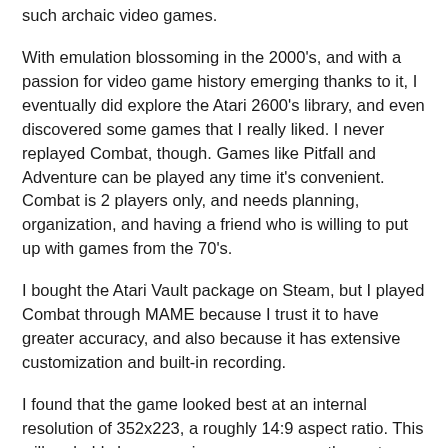such archaic video games.
With emulation blossoming in the 2000's, and with a passion for video game history emerging thanks to it, I eventually did explore the Atari 2600's library, and even discovered some games that I really liked. I never replayed Combat, though. Games like Pitfall and Adventure can be played any time it's convenient. Combat is 2 players only, and needs planning, organization, and having a friend who is willing to put up with games from the 70's.
I bought the Atari Vault package on Steam, but I played Combat through MAME because I trust it to have greater accuracy, and also because it has extensive customization and built-in recording.
I found that the game looked best at an internal resolution of 352x223, a roughly 14:9 aspect ratio. This will probably be a surprise or even an anathema to anyone into this kind of nitty-gritty detail, it isn't an authentic resolution or an authentic aspect ratio, but sprite rotation caused distortion at a "correct" 4:3 aspect ratio, with sprites' apparent dimensions warning with the angle. With the 14:9 aspect ratio, sprites